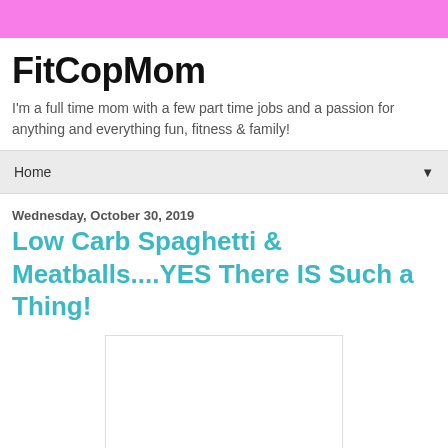FitCopMom
I'm a full time mom with a few part time jobs and a passion for anything and everything fun, fitness & family!
Home
Wednesday, October 30, 2019
Low Carb Spaghetti & Meatballs....YES There IS Such a Thing!
[Figure (other): Blank/loading image placeholder for food photo]